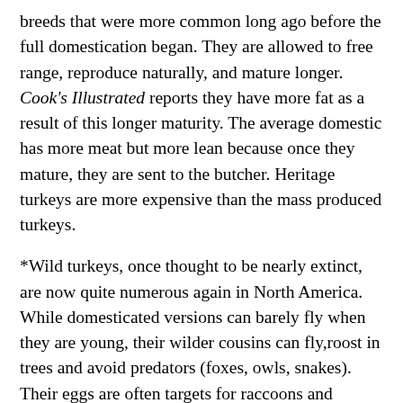breeds that were more common long ago before the full domestication began. They are allowed to free range, reproduce naturally, and mature longer. Cook's Illustrated reports they have more fat as a result of this longer maturity. The average domestic has more meat but more lean because once they mature, they are sent to the butcher. Heritage turkeys are more expensive than the mass produced turkeys.
*Wild turkeys, once thought to be nearly extinct, are now quite numerous again in North America. While domesticated versions can barely fly when they are young, their wilder cousins can fly,roost in trees and avoid predators (foxes, owls, snakes). Their eggs are often targets for raccoons and opossums. Wild turkeys travel in same sex flocks (male/male or female/female)with the exception of young turkeys that follow their mothers for about five months. They eat a wide assortment from insects, spiders and small frogs to fruits, flowers, acorns and grasses. They roam about during the day seeking food and in flocks. It is rare to see a turkey by itself in